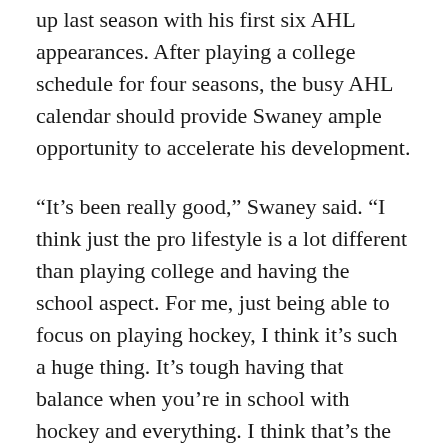up last season with his first six AHL appearances. After playing a college schedule for four seasons, the busy AHL calendar should provide Swaney ample opportunity to accelerate his development.
“It’s been really good,” Swaney said. “I think just the pro lifestyle is a lot different than playing college and having the school aspect. For me, just being able to focus on playing hockey, I think it’s such a huge thing. It’s tough having that balance when you’re in school with hockey and everything. I think that’s the positive, just being able to focus on playing hockey and doing it every single day.”
That said, Swaney believes that he needed to play out his full college career.
“Just having those years of development… I was able to